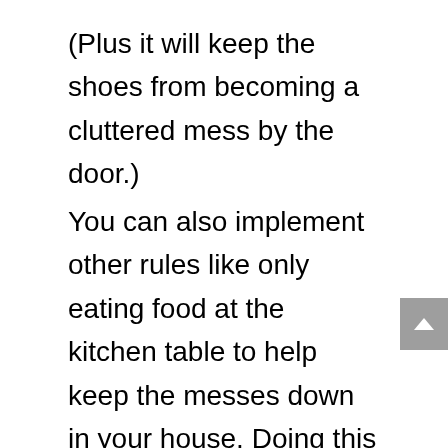(Plus it will keep the shoes from becoming a cluttered mess by the door.)
You can also implement other rules like only eating food at the kitchen table to help keep the messes down in your house. Doing this will keep crumbs and food particles in one place – in the kitchen. It will also stop dishes from getting left in various places throughout the house.